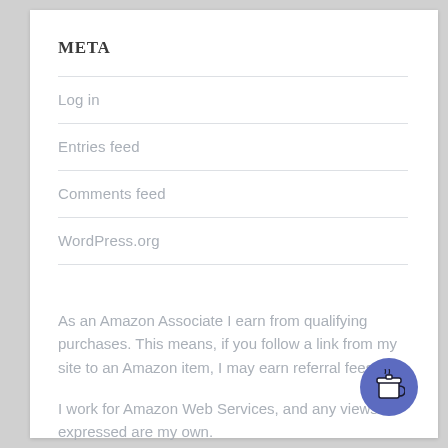META
Log in
Entries feed
Comments feed
WordPress.org
As an Amazon Associate I earn from qualifying purchases. This means, if you follow a link from my site to an Amazon item, I may earn referral fees.
I work for Amazon Web Services, and any views expressed are my own.